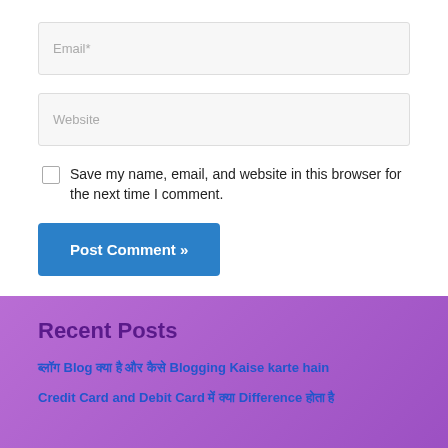Email*
Website
Save my name, email, and website in this browser for the next time I comment.
Post Comment »
Recent Posts
ब्लॉग Blog क्या है और कैसे Blogging Kaise karte hain
Credit Card and Debit Card में क्या Difference होता है